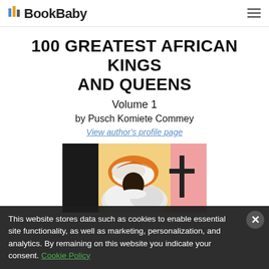BookBaby
100 GREATEST AFRICAN KINGS AND QUEENS
Volume 1
by Pusch Komiete Commey
View author's profile page
[Figure (illustration): Book cover illustration showing an African king or queen wearing a white and orange turban/headdress, with a stylized geometric background in yellow, black, and pink tones.]
This website stores data such as cookies to enable essential site functionality, as well as marketing, personalization, and analytics. By remaining on this website you indicate your consent. Cookie Policy